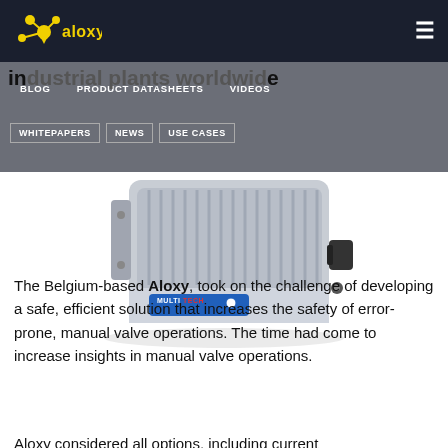aloxy — navigation bar with logo and hamburger menu
BLOG | PRODUCT DATASHEETS | VIDEOS | WHITEPAPERS | NEWS | USE CASES
industrial plants worldwide
[Figure (photo): MultiTech outdoor industrial IoT gateway device — grey metal enclosure with ribbed top and antenna connectors, blue MultiTech logo label on front]
The Belgium-based Aloxy, took on the challenge of developing a safe, efficient solution that increases the safety of error-prone, manual valve operations. The time had come to increase insights in manual valve operations.
Aloxy considered all options, including current